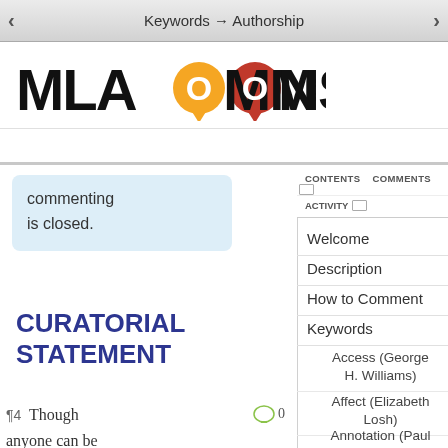Keywords → Authorship
[Figure (logo): MLA Commons logo with speech bubble icons in orange and red]
commenting is closed.
CURATORIAL STATEMENT
¶4  Though anyone can be an author by producing text, since the 18th century, we have attached
CONTENTS
COMMENTS
ACTIVITY
Welcome
Description
How to Comment
Keywords
Access (George H. Williams)
Affect (Elizabeth Losh)
Annotation (Paul Schacht)
Archive (Lauren